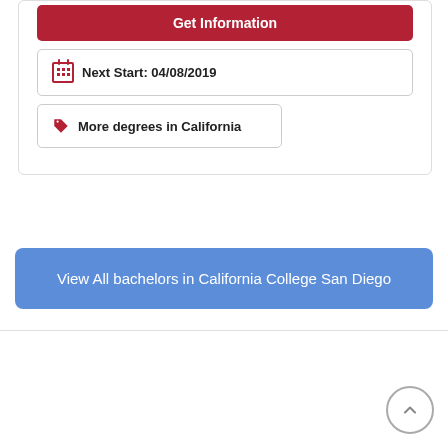Get Information
Next Start: 04/08/2019
More degrees in California
View All bachelors in California College San Diego
[Figure (other): Scroll-to-top circular button with upward chevron arrow]